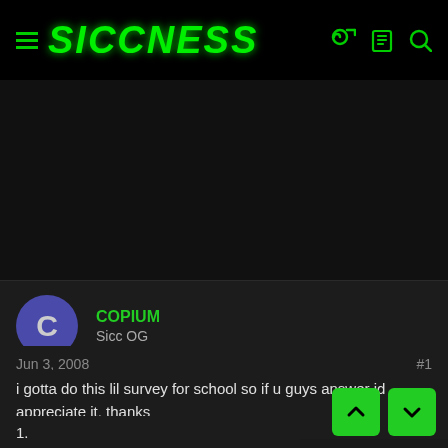SICCNESS
[Figure (other): Dark banner/advertisement area]
COPIUM
Sicc OG
Jun 3, 2008  #1
i gotta do this lil survey for school so if u guys answer id appreciate it, thanks
1.